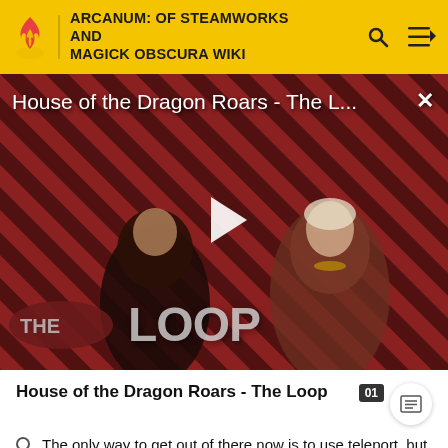ARCANUM: OF STEAMWORKS AND MAGICK OBSCURA WIKI
[Figure (screenshot): Video player thumbnail showing two characters from House of the Dragon against a diagonal red and black striped background. One character wears armor, the other has platinum hair and a necklace. A white play button triangle is centered. 'THE LOOP' text appears in the lower left. Title bar reads 'House of the Dragon Roars - The L...' with an X close button.]
House of the Dragon Roars - The Loop
The only way to get out of there now is to use teleport, but that's Willy's problem now.
Note that it's very important to right-click before